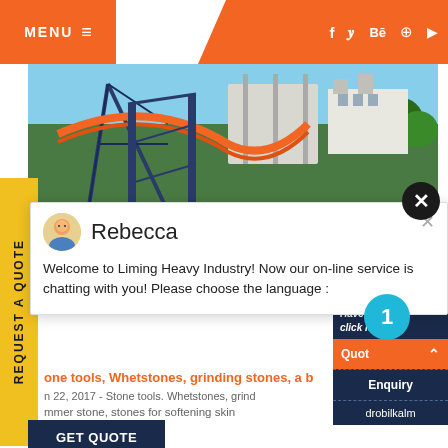MENU ≡  f  y  Be  ⊕  ▶
[Figure (photo): Roller coaster / amusement park ride infrastructure with orange and blue steel lattice structures against a blue sky with green trees]
REQUEST A QUOTE (vertical sidebar label)
[Figure (screenshot): Chat popup from Rebecca: Welcome to Liming Heavy Industry! Now our on-line service is chatting with you! Please choose the language :]
one tools, Whetstones, grinding stones, a b
n 22, 2017 - Stone tools. Whetstones, grind...
mmer stone, stones for softening skin
GET QUOTE
Have any r click here.
1
Quot ˄
Enquiry
drobilkalm